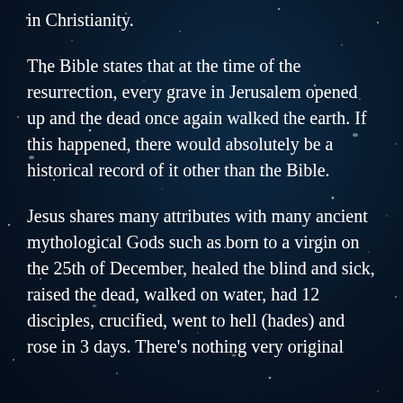in Christianity.
The Bible states that at the time of the resurrection, every grave in Jerusalem opened up and the dead once again walked the earth. If this happened, there would absolutely be a historical record of it other than the Bible.
Jesus shares many attributes with many ancient mythological Gods such as born to a virgin on the 25th of December, healed the blind and sick, raised the dead, walked on water, had 12 disciples, crucified, went to hell (hades) and rose in 3 days. There's nothing very original